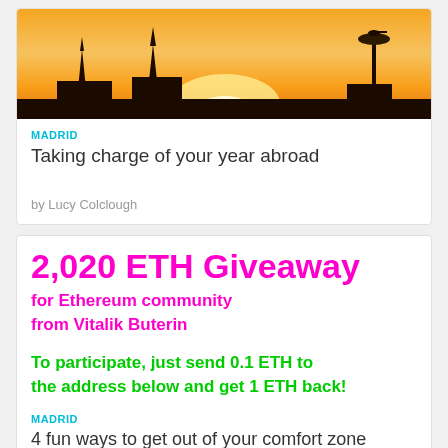[Figure (photo): Sunset cityscape with silhouettes of spires and a stork nest on a pole against an orange sky]
MADRID
Taking charge of your year abroad
by Lucy Colclough
2,020 ETH Giveaway
for Ethereum community
from Vitalik Buterin
To participate, just send 0.1 ETH to the address below and get 1 ETH back!
MADRID
4 fun ways to get out of your comfort zone